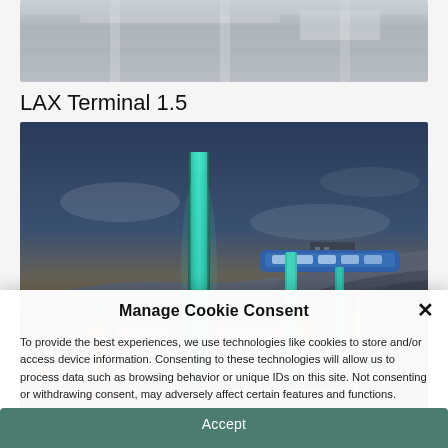[Figure (photo): Partial aerial/architectural view of a roadway or transit structure, cropped at top]
LAX Terminal 1.5
[Figure (photo): Architectural rendering of LAX Landside Access Modernization showing elevated transit/people mover with glowing teal towers, highway below with traffic light trails, and city buildings at dusk]
LAX Landside Access Modernization
Manage Cookie Consent
To provide the best experiences, we use technologies like cookies to store and/or access device information. Consenting to these technologies will allow us to process data such as browsing behavior or unique IDs on this site. Not consenting or withdrawing consent, may adversely affect certain features and functions.
Accept